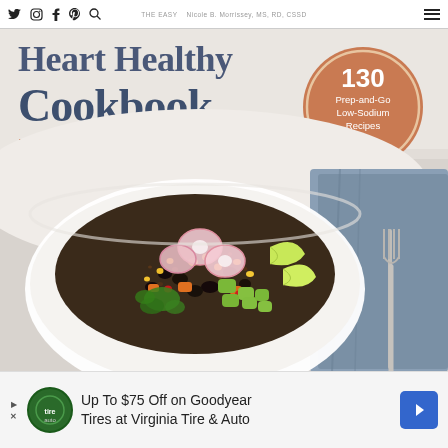THE EASY Heart Healthy Cookbook Nicole B. Morrissey, MS, RD, CSSD - Nav icons: Twitter, Instagram, Facebook, Pinterest, Search, Hamburger menu
[Figure (photo): Book cover for 'The Easy Heart Healthy Cookbook for Slow Cookers' by Nicole B. Morrissey MS, RD, CSSD. Dark blue/slate title text on light background. Subtitle 'FOR SLOW COOKERS' in orange. Circle badge in terracotta orange reads '130 Prep-and-Go Low-Sodium Recipes'. Main image shows a white ceramic bowl filled with black beans, corn, diced sweet potato, sliced radishes, avocado chunks, lime wedges, and fresh cilantro. A fork and blue linen napkin visible to the right.]
Up To $75 Off on Goodyear Tires at Virginia Tire & Auto